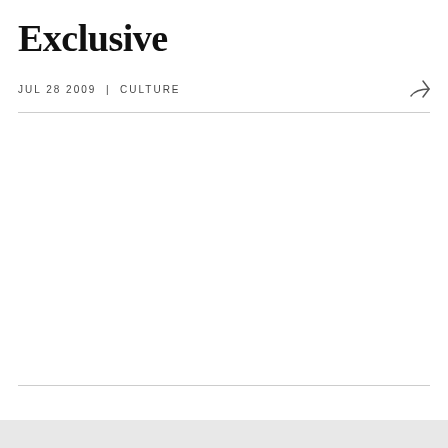Exclusive
JUL 28 2009  |  CULTURE